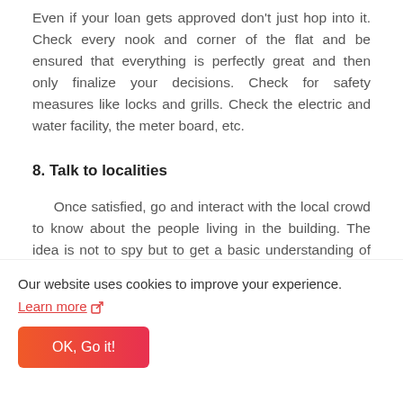Even if your loan gets approved don't just hop into it. Check every nook and corner of the flat and be ensured that everything is perfectly great and then only finalize your decisions. Check for safety measures like locks and grills. Check the electric and water facility, the meter board, etc.
8. Talk to localities
Once satisfied, go and interact with the local crowd to know about the people living in the building. The idea is not to spy but to get a basic understanding of what kind of neighborhood you
Our website uses cookies to improve your experience. Learn more
OK, Go it!